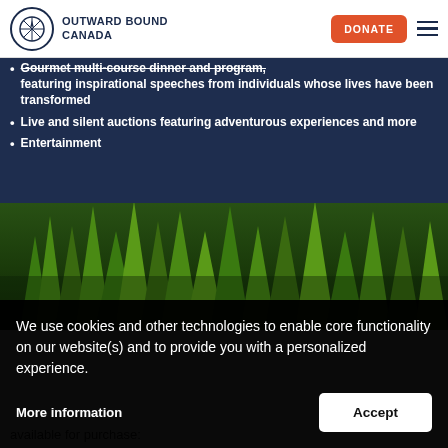OUTWARD BOUND CANADA
Gourmet multi-course dinner and program, featuring inspirational speeches from individuals whose lives have been transformed
Live and silent auctions featuring adventurous experiences and more
Entertainment
[Figure (photo): Forest of tall green conifer trees viewed from below against a dark sky]
We use cookies and other technologies to enable core functionality on our website(s) and to provide you with a personalized experience.
More information
Accept
available for purchase: